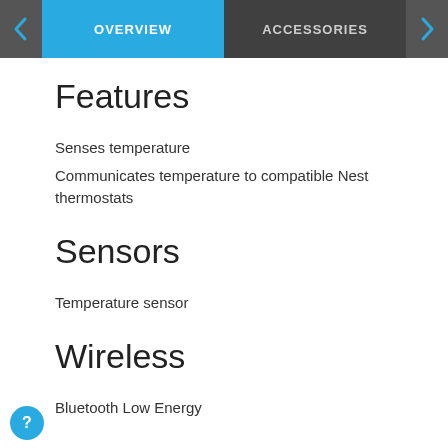OVERVIEW | ACCESSORIES
Features
Senses temperature
Communicates temperature to compatible Nest thermostats
Sensors
Temperature sensor
Wireless
Bluetooth Low Energy
Range
Up to 50 feet away from your Nest thermostat. Range can vary depending on your home's construction, wireless interference and other fators